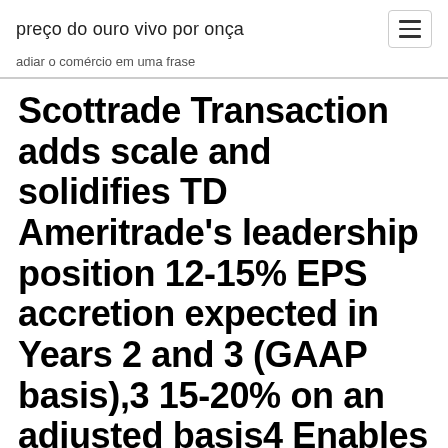preço do ouro vivo por onça
adiar o comércio em uma frase
Scottrade Transaction adds scale and solidifies TD Ameritrade's leadership position 12-15% EPS accretion expected in Years 2 and 3 (GAAP basis),3 15-20% on an adjusted basis4 Enables delivery of broader trading and investing experience